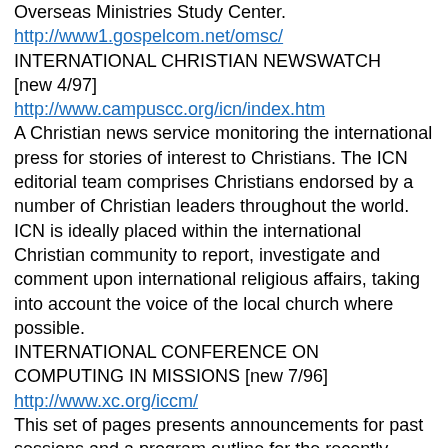Overseas Ministries Study Center. http://www1.gospelcom.net/omsc/
INTERNATIONAL CHRISTIAN NEWSWATCH [new 4/97]
http://www.campuscc.org/icn/index.htm
A Christian news service monitoring the international press for stories of interest to Christians. The ICN editorial team comprises Christians endorsed by a number of Christian leaders throughout the world. ICN is ideally placed within the international Christian community to report, investigate and comment upon international religious affairs, taking into account the voice of the local church where possible.
INTERNATIONAL CONFERENCE ON COMPUTING IN MISSIONS [new 7/96]
http://www.xc.org/iccm/
This set of pages presents announcements for past sessions and a program outline for the recently completed 1996 session (Abline, TX). Conference reports and summaries are attached to the program outline. At the time of our survey support files for the following topics are available: God has Used Technology to Change the Way We Do Missions", by Pete Holzmann; The Sociology of Cyberspace Part II: Information Technology and